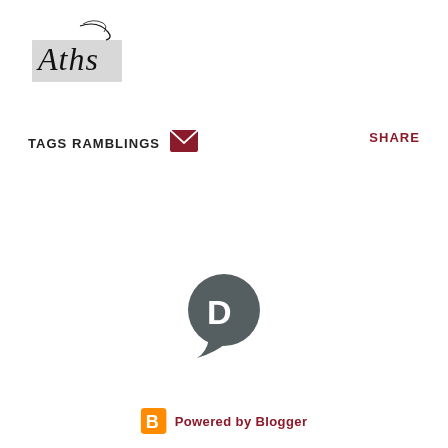[Figure (logo): Aths blog logo - cursive script text on light grey rectangle background]
TAGS RAMBLINGS
[Figure (other): Red/dark red envelope email icon]
SHARE
[Figure (other): Disqus logo - grey speech bubble with D letter]
[Figure (logo): Powered by Blogger - orange B icon with text]